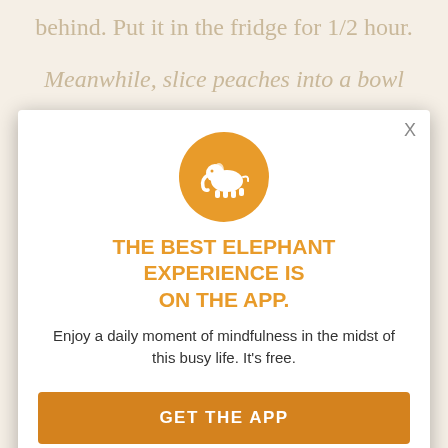behind.  Put it in the fridge for 1/2 hour.
Meanwhile, slice peaches into a bowl
Add sugar to taste and 1/2 of a lemon, juiced with vanilla. Set aside.
Take out the dough and flatten it with
I, put it on a floured surface. Roll out the dough starting from the center and
have a thin... The circle can be large. The point is to have enough room to cover the fruit. Cente... an open pie plate or Open ceramic bowl
[Figure (logo): Orange circle with white elephant logo icon]
THE BEST ELEPHANT EXPERIENCE IS ON THE APP.
Enjoy a daily moment of mindfulness in the midst of this busy life. It's free.
GET THE APP
OPEN IN APP